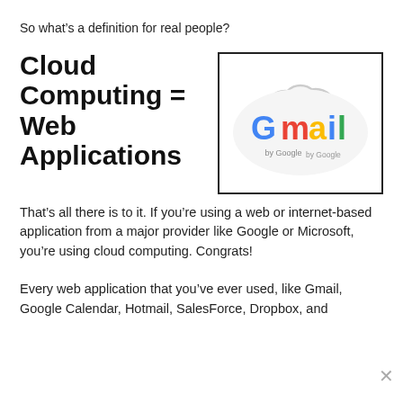So what’s a definition for real people?
Cloud Computing = Web Applications
[Figure (illustration): A cloud shape containing the Gmail logo (G in blue, m in red, a in yellow, i in blue, l in green) with 'by Google' text below, inside a rectangular border.]
That’s all there is to it. If you’re using a web or internet-based application from a major provider like Google or Microsoft, you’re using cloud computing. Congrats!
Every web application that you’ve ever used, like Gmail, Google Calendar, Hotmail, SalesForce, Dropbox, and